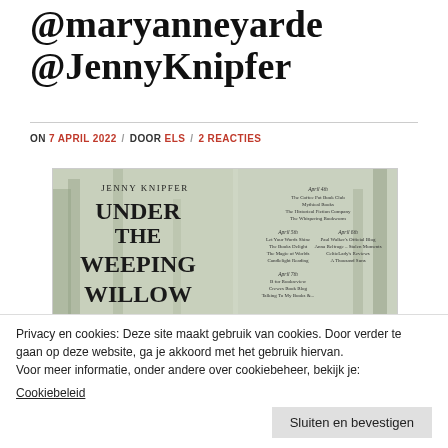@maryanneyarde @JennyKnipfer
ON 7 APRIL 2022 / DOOR ELS / 2 REACTIES
[Figure (photo): Book cover / blog tour image for 'Under the Weeping Willow' by Jenny Knipfer, showing a forest background with tour stop dates listed on the right side including April 5th, 6th, 7th, and other dates with various blog names.]
Privacy en cookies: Deze site maakt gebruik van cookies. Door verder te gaan op deze website, ga je akkoord met het gebruik hiervan. Voor meer informatie, onder andere over cookiebeheer, bekijk je: Cookiebeleid
Sluiten en bevestigen